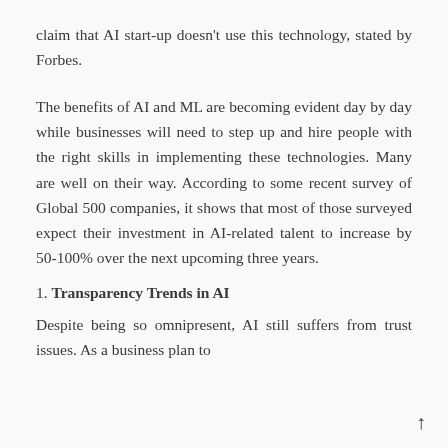claim that AI start-up doesn't use this technology, stated by Forbes.
The benefits of AI and ML are becoming evident day by day while businesses will need to step up and hire people with the right skills in implementing these technologies. Many are well on their way. According to some recent survey of Global 500 companies, it shows that most of those surveyed expect their investment in AI-related talent to increase by 50-100% over the next upcoming three years.
1. Transparency Trends in AI
Despite being so omnipresent, AI still suffers from trust issues. As a business plan to